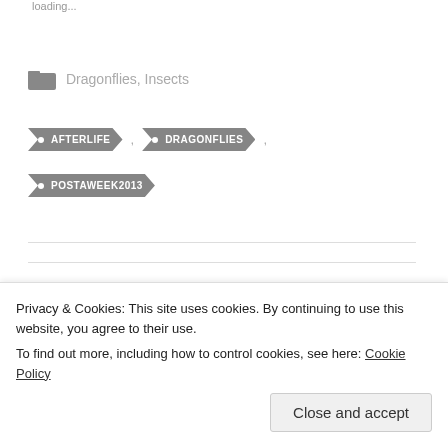loading...
Dragonflies, Insects
• AFTERLIFE
• DRAGONFLIES
• POSTAWEEK2013
Privacy & Cookies: This site uses cookies. By continuing to use this website, you agree to their use. To find out more, including how to control cookies, see here: Cookie Policy
Close and accept